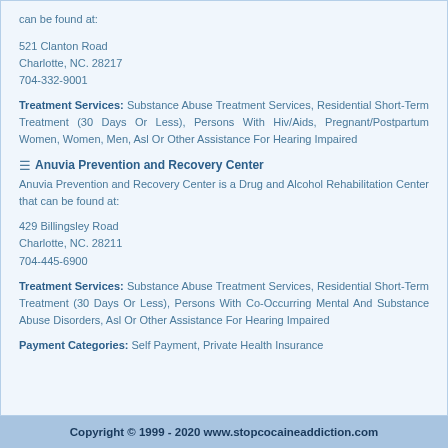can be found at:
521 Clanton Road
Charlotte, NC. 28217
704-332-9001
Treatment Services: Substance Abuse Treatment Services, Residential Short-Term Treatment (30 Days Or Less), Persons With Hiv/Aids, Pregnant/Postpartum Women, Women, Men, Asl Or Other Assistance For Hearing Impaired
Anuvia Prevention and Recovery Center
Anuvia Prevention and Recovery Center is a Drug and Alcohol Rehabilitation Center that can be found at:
429 Billingsley Road
Charlotte, NC. 28211
704-445-6900
Treatment Services: Substance Abuse Treatment Services, Residential Short-Term Treatment (30 Days Or Less), Persons With Co-Occurring Mental And Substance Abuse Disorders, Asl Or Other Assistance For Hearing Impaired
Payment Categories: Self Payment, Private Health Insurance
Copyright © 1999 - 2020 www.stopcocaineaddiction.com